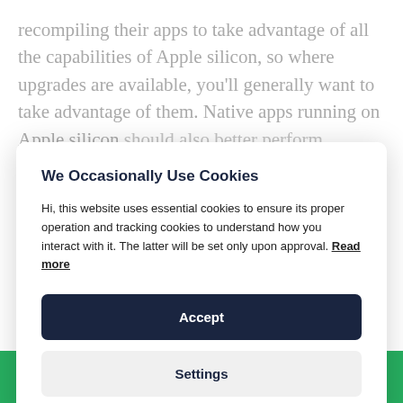recompiling their apps to take advantage of all the capabilities of Apple silicon, so where upgrades are available, you'll generally want to take advantage of them. Native apps running on Apple silicon should also better perform...
We Occasionally Use Cookies
Hi, this website uses essential cookies to ensure its proper operation and tracking cookies to understand how you interact with it. The latter will be set only upon approval. Read more
Accept
Settings